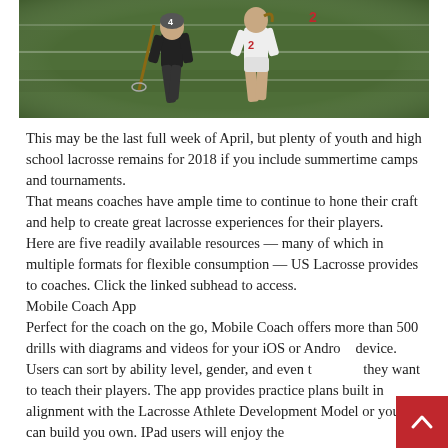[Figure (photo): Two lacrosse players running on a field — one in black uniform, one in white with red number, on a green grass field]
This may be the last full week of April, but plenty of youth and high school lacrosse remains for 2018 if you include summertime camps and tournaments.
That means coaches have ample time to continue to hone their craft and help to create great lacrosse experiences for their players.
Here are five readily available resources — many of which in multiple formats for flexible consumption — US Lacrosse provides to coaches. Click the linked subhead to access.
Mobile Coach App
Perfect for the coach on the go, Mobile Coach offers more than 500 drills with diagrams and videos for your iOS or Android device. Users can sort by ability level, gender, and even the skills they want to teach their players. The app provides practice plans built in alignment with the Lacrosse Athlete Development Model or you can build you own. IPad users will enjoy the